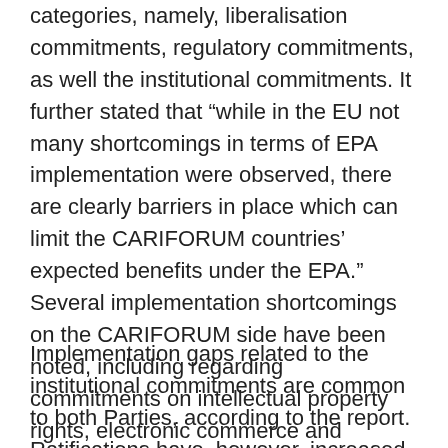categories, namely, liberalisation commitments, regulatory commitments, as well the institutional commitments. It further stated that “while in the EU not many shortcomings in terms of EPA implementation were observed, there are clearly barriers in place which can limit the CARIFORUM countries’ expected benefits under the EPA.” Several implementation shortcomings on the CARIFORUM side have been noted, including regarding commitments on intellectual property rights, electronic commerce and regional preferences.
Implementation gaps related to the institutional commitments are common to both Parties, according to the report. Ratifications have, however, increased